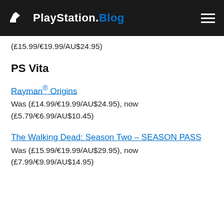PlayStation.Blog
(£15.99/€19.99/AU$24.95)
PS Vita
Rayman® Origins
Was (£14.99/€19.99/AU$24.95), now (£5.79/€6.99/AU$10.45)
The Walking Dead: Season Two – SEASON PASS
Was (£15.99/€19.99/AU$29.95), now (£7.99/€9.99/AU$14.95)